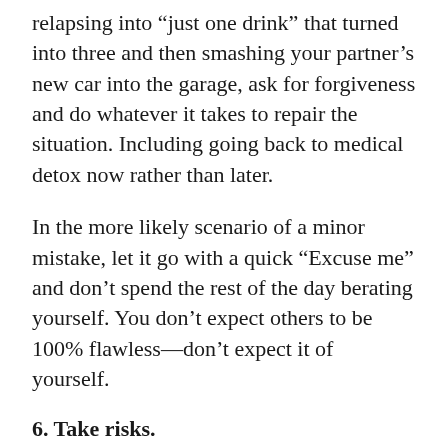relapsing into “just one drink” that turned into three and then smashing your partner’s new car into the garage, ask for forgiveness and do whatever it takes to repair the situation. Including going back to medical detox now rather than later.
In the more likely scenario of a minor mistake, let it go with a quick “Excuse me” and don’t spend the rest of the day berating yourself. You don’t expect others to be 100% flawless—don’t expect it of yourself.
6. Take risks.
Not all mistakes are the sort that require apologies—some are part of the natural trial and error required to achieve anything significant, and if you’re afraid to risk any setbacks, you doom yourself to life in a